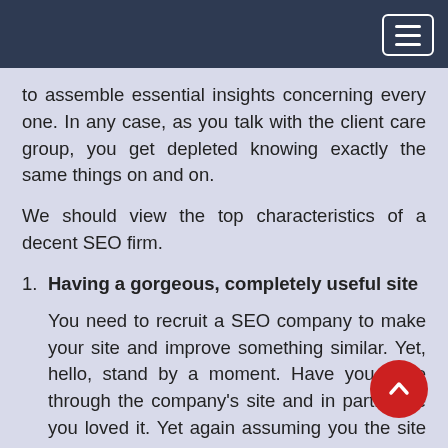to assemble essential insights concerning every one. In any case, as you talk with the client care group, you get depleted knowing exactly the same things on and on.
We should view the top characteristics of a decent SEO firm.
Having a gorgeous, completely useful site
You need to recruit a SEO company to make your site and improve something similar. Yet, hello, stand by a moment. Have you gone through the company's site and in parti have you loved it. Yet again assuming you the site cloudy with confused text, recordings,